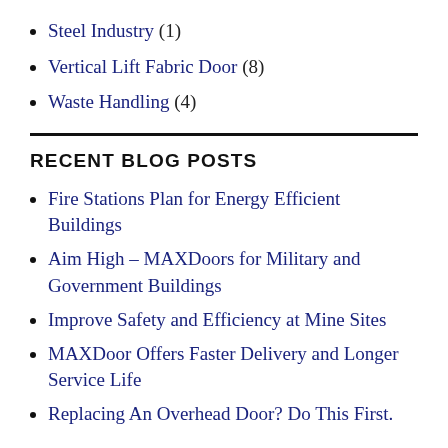Steel Industry (1)
Vertical Lift Fabric Door (8)
Waste Handling (4)
RECENT BLOG POSTS
Fire Stations Plan for Energy Efficient Buildings
Aim High – MAXDoors for Military and Government Buildings
Improve Safety and Efficiency at Mine Sites
MAXDoor Offers Faster Delivery and Longer Service Life
Replacing An Overhead Door? Do This First.